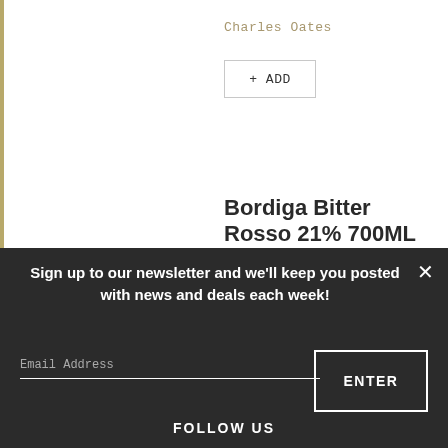Charles Oates
+ ADD
Bordiga Bitter Rosso 21% 700ML
Sign up to our newsletter and we'll keep you posted with news and deals each week!
Email Address
ENTER
FOLLOW US